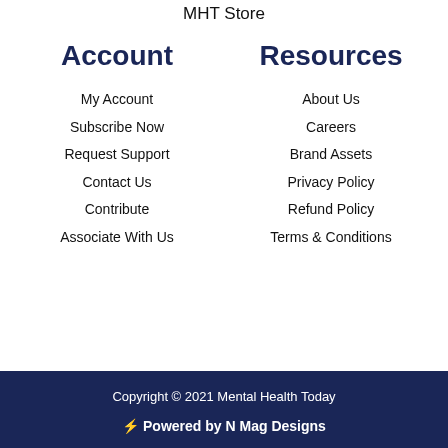MHT Store
Account
Resources
My Account
Subscribe Now
Request Support
Contact Us
Contribute
Associate With Us
About Us
Careers
Brand Assets
Privacy Policy
Refund Policy
Terms & Conditions
Copyright © 2021 Mental Health Today
⚡ Powered by N Mag Designs